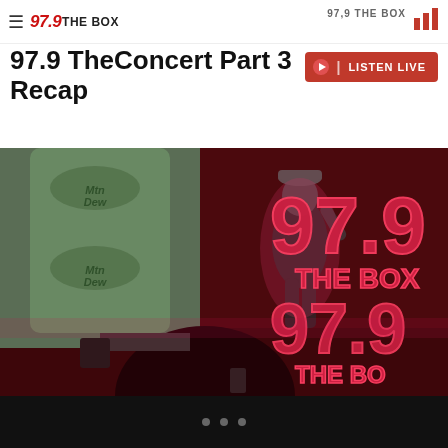97,9 THE BOX
97,9 TheConcert Part 3 Recap
[Figure (photo): Concert photo showing a performer on stage holding a microphone, wearing a cap and dark t-shirt. A Mtn Dew branded backdrop is visible on the left, and large red neon-style 97.9 THE BOX logo signs are displayed on the right. Audience member silhouette visible in foreground.]
• • •